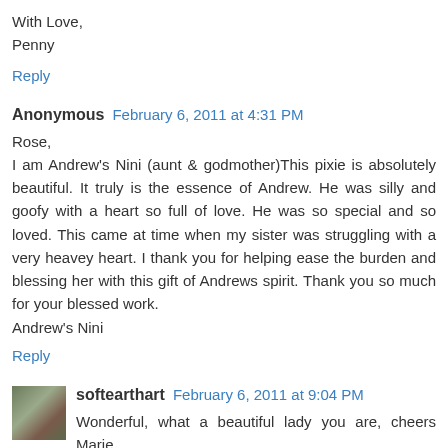With Love,
Penny
Reply
Anonymous  February 6, 2011 at 4:31 PM
Rose,
I am Andrew's Nini (aunt & godmother)This pixie is absolutely beautiful. It truly is the essence of Andrew. He was silly and goofy with a heart so full of love. He was so special and so loved. This came at time when my sister was struggling with a very heavey heart. I thank you for helping ease the burden and blessing her with this gift of Andrews spirit. Thank you so much for your blessed work.
Andrew's Nini
Reply
softearthart  February 6, 2011 at 9:04 PM
Wonderful, what a beautiful lady you are, cheers Marie